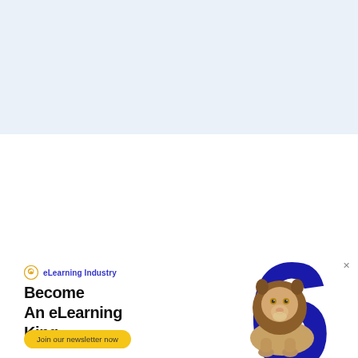[Figure (illustration): Light blue/grey banner area at the top of the page, solid color background band]
[Figure (infographic): eLearning Industry advertisement banner. Contains the eLearning Industry logo (gold circular icon with text 'eLearning Industry' in blue), large dark navy stylized number '6' graphic in the background, a lion photograph sitting in the foreground, headline text 'Become An eLearning King.', and a yellow pill-shaped CTA button reading 'Join our newsletter now'. There is a small close 'x' in the top-right corner.]